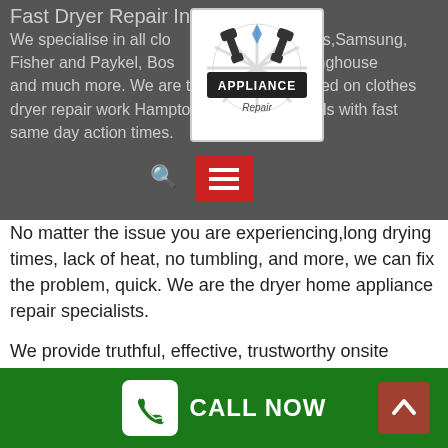Fast Dryer Repair In Hampton East
We specialise in all clothes dryer brand names, Samsung, Fisher and Paykel, Bosch, Haier, LG, Westinghouse and much more. We are trustworthy and relied on clothes dryer repair work Hampton East professionals with fast same day action times.
[Figure (logo): Appliance Repair logo with two crossed wrenches and snowflake/gear decoration]
No matter the issue you are experiencing, long drying times, lack of heat, no tumbling, and more, we can fix the problem, quick. We are the dryer home appliance repair specialists.
We provide truthful, effective, trustworthy onsite repair work and same-day service for all kinds of residential and commercial home appliances, including fridges and ranges, washers and clothes dryers, heating systems and
CALL NOW